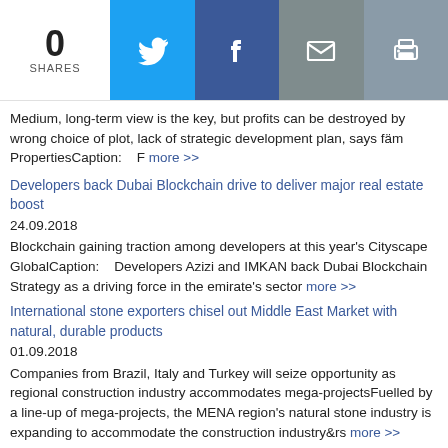[Figure (infographic): Social sharing bar showing 0 SHARES, Twitter button (blue), Facebook button (dark blue), Email button (grey), Print button (grey-blue)]
Medium, long-term view is the key, but profits can be destroyed by wrong choice of plot, lack of strategic development plan, says fäm PropertiesCaption:    F more >>
Developers back Dubai Blockchain drive to deliver major real estate boost
24.09.2018
Blockchain gaining traction among developers at this year’s Cityscape GlobalCaption:    Developers Azizi and IMKAN back Dubai Blockchain Strategy as a driving force in the emirate’s sector more >>
International stone exporters chisel out Middle East Market with natural, durable products
01.09.2018
Companies from Brazil, Italy and Turkey will seize opportunity as regional construction industry accommodates mega-projectsFuelled by a line-up of mega-projects, the MENA region’s natural stone industry is expanding to accommodate the construction industry&rs more >>
Cityscape Global Dubai - Initiatives to create population happiness
30.08.2018
- Real Estate, Construction Industry echoes UAE Government initiatives to create population happiness- Developers, architects